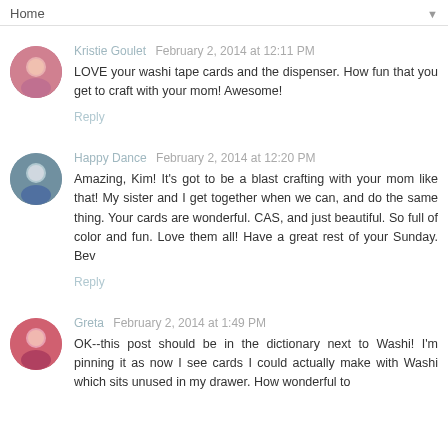Home
Kristie Goulet  February 2, 2014 at 12:11 PM
LOVE your washi tape cards and the dispenser. How fun that you get to craft with your mom! Awesome!
Reply
Happy Dance  February 2, 2014 at 12:20 PM
Amazing, Kim! It's got to be a blast crafting with your mom like that! My sister and I get together when we can, and do the same thing. Your cards are wonderful. CAS, and just beautiful. So full of color and fun. Love them all! Have a great rest of your Sunday. Bev
Reply
Greta  February 2, 2014 at 1:49 PM
OK--this post should be in the dictionary next to Washi! I'm pinning it as now I see cards I could actually make with Washi which sits unused in my drawer. How wonderful to